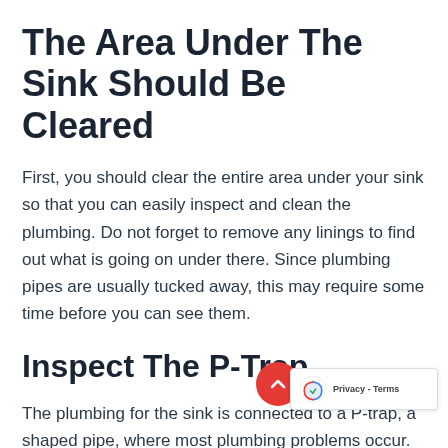The Area Under The Sink Should Be Cleared
First, you should clear the entire area under your sink so that you can easily inspect and clean the plumbing. Do not forget to remove any linings to find out what is going on under there. Since plumbing pipes are usually tucked away, this may require some time before you can see them.
Inspect The P-Trap
The plumbing for the sink is connected to a P-trap, a shaped pipe, where most plumbing problems occur. The opening of the P-Trap leads into the sewer system, and if it